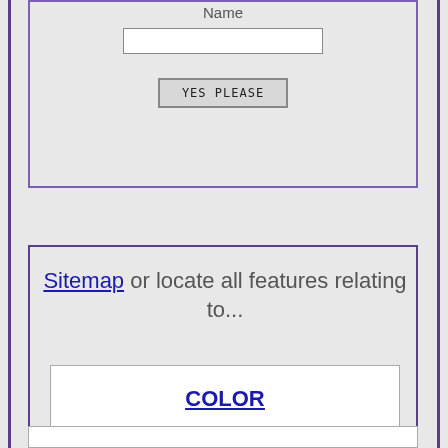Name
[Figure (screenshot): Form input box labeled Name with a text input field and a YES PLEASE button]
Sitemap or locate all features relating to...
COLOR
[Figure (screenshot): Partial white box at bottom of page]